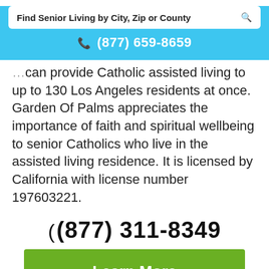Find Senior Living by City, Zip or County | ☎ (877) 659-8659
…help with laundry and more. Garden Of Palms can provide Catholic assisted living to up to 130 Los Angeles residents at once. Garden Of Palms appreciates the importance of faith and spiritual wellbeing to senior Catholics who live in the assisted living residence. It is licensed by California with license number 197603221.
( (877) 311-8349
Learn More
View Pricing & Availability